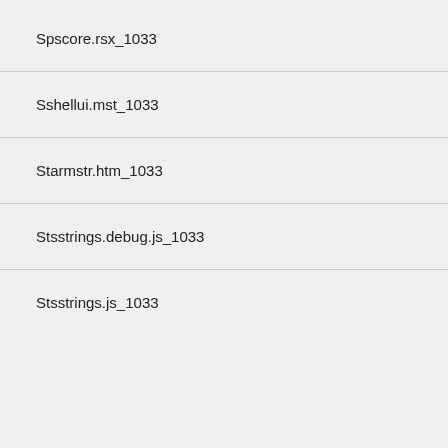Spscore.rsx_1033
Sshellui.mst_1033
Starmstr.htm_1033
Stsstrings.debug.js_1033
Stsstrings.js_1033